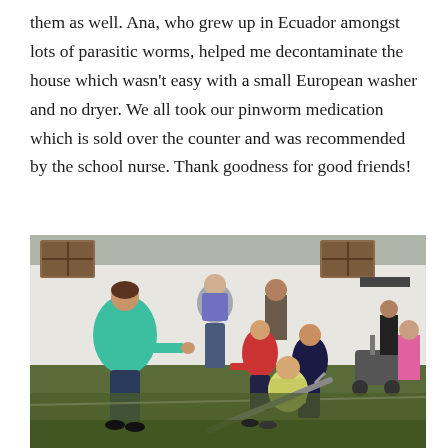them as well. Ana, who grew up in Ecuador amongst lots of parasitic worms, helped me decontaminate the house which wasn't easy with a small European washer and no dryer. We all took our pinworm medication which is sold over the counter and was recommended by the school nurse. Thank goodness for good friends!
[Figure (photo): Outdoor photo of a woman in a teal/green puffer jacket playing with several children on a grassy courtyard area. Children are handling what appear to be large prop swords. Other adults visible in background near a white building. A stroller is visible on the right side.]